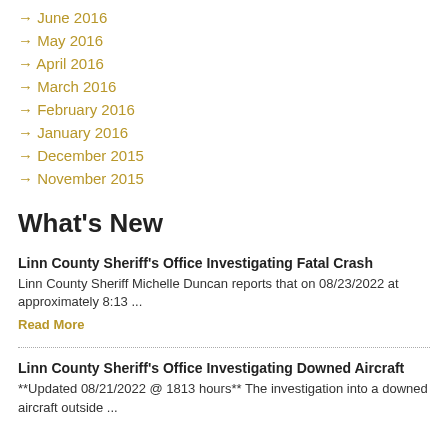→ June 2016
→ May 2016
→ April 2016
→ March 2016
→ February 2016
→ January 2016
→ December 2015
→ November 2015
What's New
Linn County Sheriff's Office Investigating Fatal Crash
Linn County Sheriff Michelle Duncan reports that on 08/23/2022 at approximately 8:13 ...
Read More
Linn County Sheriff's Office Investigating Downed Aircraft
**Updated 08/21/2022 @ 1813 hours** The investigation into a downed aircraft outside ...